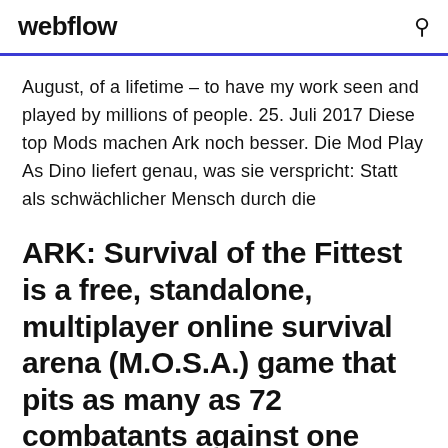webflow
August, of a lifetime – to have my work seen and played by millions of people. 25. Juli 2017 Diese top Mods machen Ark noch besser. Die Mod Play As Dino liefert genau, was sie verspricht: Statt als schwächlicher Mensch durch die
ARK: Survival of the Fittest is a free, standalone, multiplayer online survival arena (M.O.S.A.) game that pits as many as 72 combatants against one another in spontaneous Hunger Games-style competitions within a